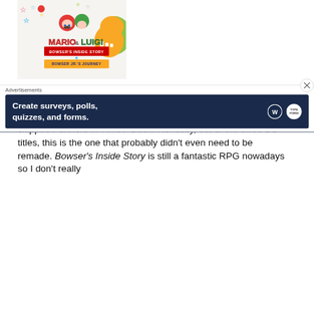[Figure (illustration): Mario & Luigi: Bowser's Inside Story + Bowser Jr.'s Journey game cover art showing Mario, Luigi, Bowser, and colorful stars]
After the success of remaking the first Mario & Luigi game for 3DS, it only makes sense for Nintendo to give the second game the same treatment… wait, this is the third game. They just skipped Partners in Time? Ouch. Honestly, out of the three DS titles, this is the one that probably didn't even need to be remade. Bowser's Inside Story is still a fantastic RPG nowadays so I don't really
Advertisements
[Figure (screenshot): Advertisement banner: 'Create surveys, polls, quizzes, and forms.' with WordPress and Typeform logos]